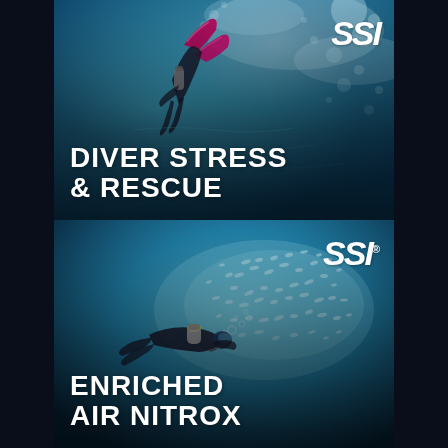[Figure (photo): SSI Diver Stress & Rescue course cover image: scuba diver with pink/magenta fins swimming upward through blue water with bubbles, SSI logo in top right corner, text 'DIVER STRESS & RESCUE' in bottom left]
[Figure (photo): SSI Enriched Air Nitrox course cover image: scuba diver swimming horizontally through a large school of silver fish in blue water, SSI logo in top right corner, text 'ENRICHED AIR NITROX' in bottom left]